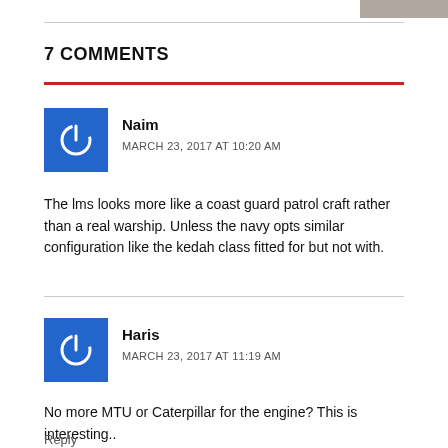[Figure (photo): Partial image of a ship or vessel in grayscale, top right corner]
7 COMMENTS
Naim
MARCH 23, 2017 AT 10:20 AM
The lms looks more like a coast guard patrol craft rather than a real warship. Unless the navy opts similar configuration like the kedah class fitted for but not with.
Haris
MARCH 23, 2017 AT 11:19 AM
No more MTU or Caterpillar for the engine? This is interesting..
Reply